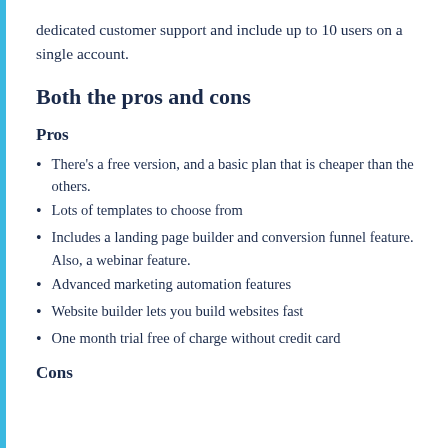dedicated customer support and include up to 10 users on a single account.
Both the pros and cons
Pros
There's a free version, and a basic plan that is cheaper than the others.
Lots of templates to choose from
Includes a landing page builder and conversion funnel feature. Also, a webinar feature.
Advanced marketing automation features
Website builder lets you build websites fast
One month trial free of charge without credit card
Cons